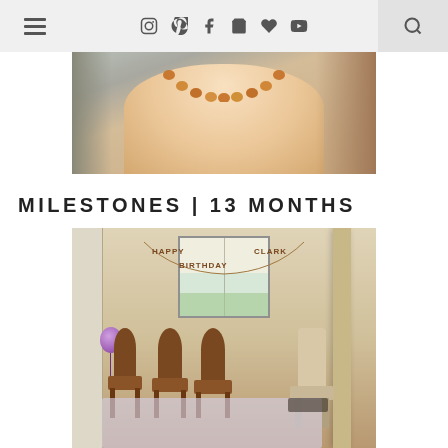Navigation bar with hamburger menu, social icons (Instagram, Pinterest, Facebook, cart, heart, YouTube), and search
[Figure (photo): Close-up photo of a baby's torso wearing an amber bead necklace, shirtless, light skin, muted background]
MILESTONES | 13 MONTHS
[Figure (photo): Indoor birthday party setup with dining chairs around a table, a 'HAPPY BIRTHDAY CLARK' banner hanging in front of a window, warm-toned walls, a purple balloon visible in the background]